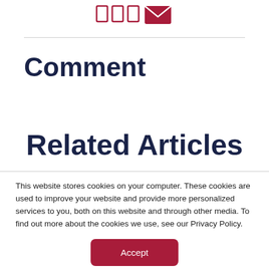[Figure (illustration): Social share icons: three rectangular bar icons (outline, dark red/crimson) and one filled envelope icon (dark red/crimson)]
Comment
Related Articles
This website stores cookies on your computer. These cookies are used to improve your website and provide more personalized services to you, both on this website and through other media. To find out more about the cookies we use, see our Privacy Policy.
Accept